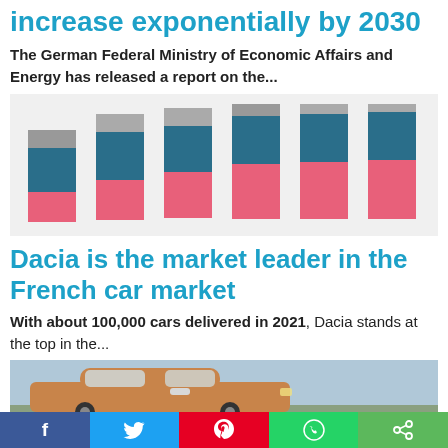increase exponentially by 2030
The German Federal Ministry of Economic Affairs and Energy has released a report on the...
[Figure (stacked-bar-chart): Stacked bar chart with 6 bars showing growth trend, each bar composed of three colored segments: pink (bottom), blue (middle), gray (top). Bars increase in height from left to right.]
Dacia is the market leader in the French car market
With about 100,000 cars delivered in 2021, Dacia stands at the top in the...
[Figure (photo): Photo of a Dacia car, viewed from the front-side, parked outdoors.]
f  | Twitter  | Pinterest  | WhatsApp  | Share